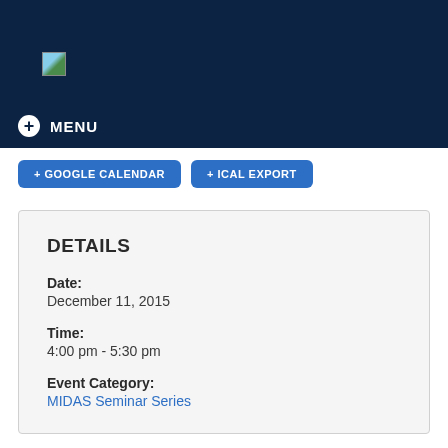[Figure (screenshot): Broken image icon in dark navy navigation bar]
MENU
+ GOOGLE CALENDAR   + ICAL EXPORT
DETAILS
Date:
December 11, 2015
Time:
4:00 pm - 5:30 pm
Event Category:
MIDAS Seminar Series